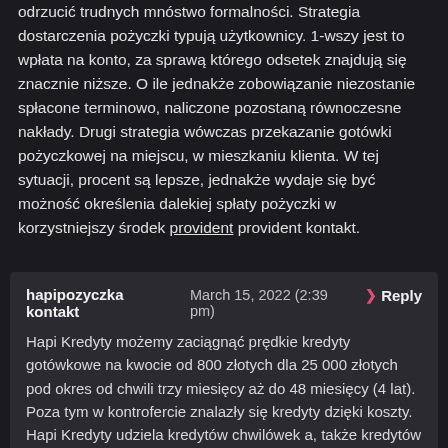odrzucić trudnych mnóstwo formalności. Strategia dostarczenia pożyczki typują użytkownicy. 1-wszy jest to wpłata na konto, za sprawą którego odsetek znajdują się znacznie niższe. O ile jednakże zobowiązanie niezostanie spłacone terminowo, naliczone pozostaną równoczesne nakłady. Drugi strategia wówczas przekazanie gotówki pożyczkowej na miejscu, w mieszkaniu klienta. W tej sytuacji, procent są lepsze, jednakże wydaje się być możność określenia dalekiej spłaty pożyczki w korzystniejszy środek provident provident kontakt.
hapipozyczka kontakt    March 15, 2022 (2:39 pm)    > Reply
Hapi Kredyty możemy zaciągnąć prędkie kredyty gotówkowe na kwocie od 800 złotych dla 25 000 złotych pod okres od chwili trzy miesięcy aż do 48 miesięcy (4 lat). Poza tym w kontrofercie znalazły się kredyty dzięki koszty. Hapi Kredyty udziela kredytów chwilówek a, także kredytów ratalnych nabywcom na terytorium polski, działając na podstawie przepisów polskiego uprawnienia nazwanych w szczególności po